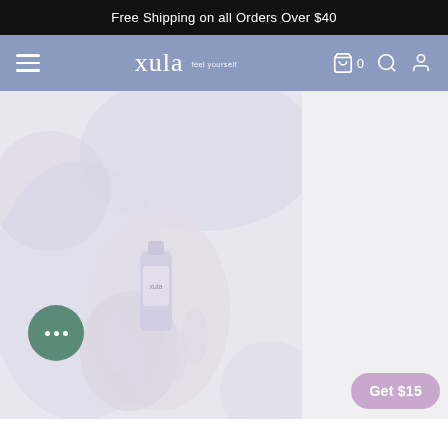Free Shipping on all Orders Over $40
xula feel yourself
[Figure (photo): Product photo showing a person holding a supplement bottle, faded/light appearance]
Get $15